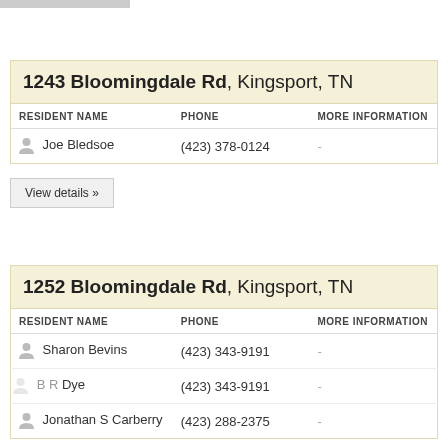1243 Bloomingdale Rd, Kingsport, TN
| RESIDENT NAME | PHONE | MORE INFORMATION |
| --- | --- | --- |
| Joe Bledsoe | (423) 378-0124 | - |
View details »
1252 Bloomingdale Rd, Kingsport, TN
| RESIDENT NAME | PHONE | MORE INFORMATION |
| --- | --- | --- |
| Sharon Bevins | (423) 343-9191 | - |
| B R Dye | (423) 343-9191 | - |
| Jonathan S Carberry | (423) 288-2375 | - |